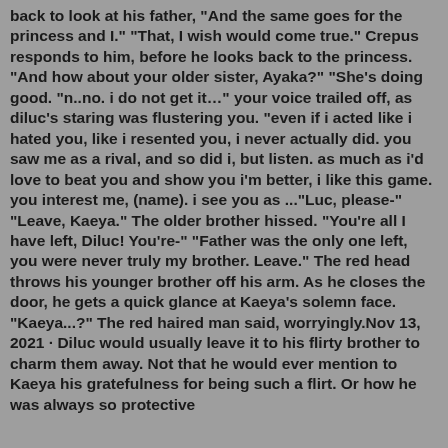back to look at his father, "And the same goes for the princess and I." "That, I wish would come true." Crepus responds to him, before he looks back to the princess. "And how about your older sister, Ayaka?" "She's doing good. "n..no. i do not get it…" your voice trailed off, as diluc's staring was flustering you. "even if i acted like i hated you, like i resented you, i never actually did. you saw me as a rival, and so did i, but listen. as much as i'd love to beat you and show you i'm better, i like this game. you interest me, (name). i see you as ..."Luc, please-" "Leave, Kaeya." The older brother hissed. "You're all I have left, Diluc! You're-" "Father was the only one left, you were never truly my brother. Leave." The red head throws his younger brother off his arm. As he closes the door, he gets a quick glance at Kaeya's solemn face. "Kaeya...?" The red haired man said, worryingly.Nov 13, 2021 · Diluc would usually leave it to his flirty brother to charm them away. Not that he would ever mention to Kaeya his gratefulness for being such a flirt. Or how he was always so protective